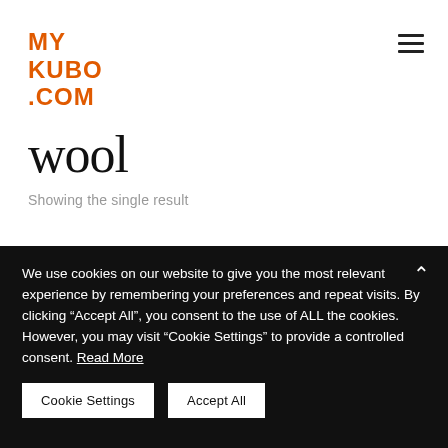MY
KUBO
.COM
wool
Showing the single result
We use cookies on our website to give you the most relevant experience by remembering your preferences and repeat visits. By clicking “Accept All”, you consent to the use of ALL the cookies. However, you may visit “Cookie Settings” to provide a controlled consent. Read More
Cookie Settings
Accept All